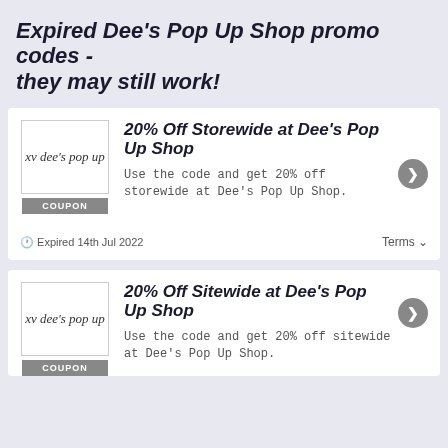Expired Dee's Pop Up Shop promo codes - they may still work!
20% Off Storewide at Dee's Pop Up Shop
Use the code and get 20% off storewide at Dee's Pop Up Shop.
🕐 Expired 14th Jul 2022
Terms
20% Off Sitewide at Dee's Pop Up Shop
Use the code and get 20% off sitewide at Dee's Pop Up Shop.